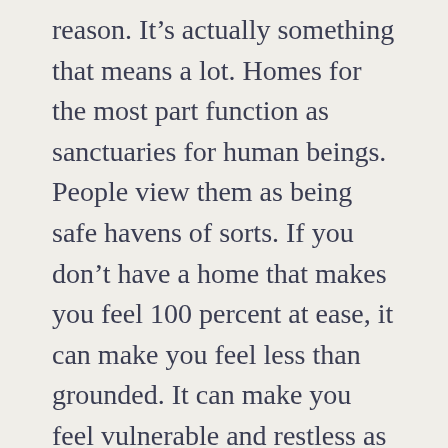reason. It's actually something that means a lot. Homes for the most part function as sanctuaries for human beings. People view them as being safe havens of sorts. If you don't have a home that makes you feel 100 percent at ease, it can make you feel less than grounded. It can make you feel vulnerable and restless as well. People should do anything and everything they can to establish home settings that make them feel completely relaxed. If you can't take it easy all alone in the